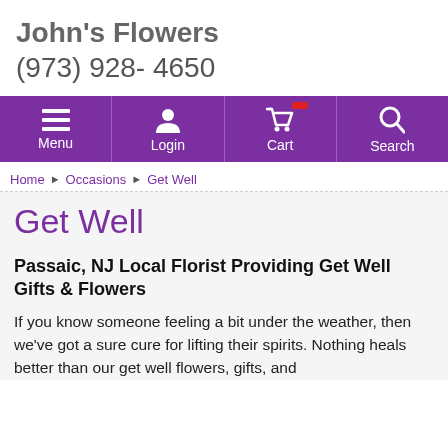John's Flowers
(973) 928- 4650
[Figure (screenshot): Purple navigation bar with Menu, Login, Cart, and Search icons]
Home ▶ Occasions ▶ Get Well
Get Well
Passaic, NJ Local Florist Providing Get Well Gifts & Flowers
If you know someone feeling a bit under the weather, then we've got a sure cure for lifting their spirits. Nothing heals better than our get well flowers, gifts, and